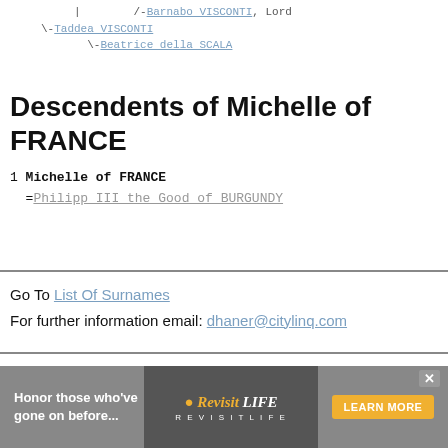|        /-Barnabo VISCONTI, Lord
\-Taddea VISCONTI
          \-Beatrice della SCALA
Descendents of Michelle of FRANCE
1 Michelle of FRANCE
  =Philipp III the Good of BURGUNDY
Go To List Of Surnames
For further information email: dhaner@citylinq.com
[Figure (other): Advertisement banner: 'Honor those who've gone on before...' with RevisitLife logo and 'LEARN MORE' button]